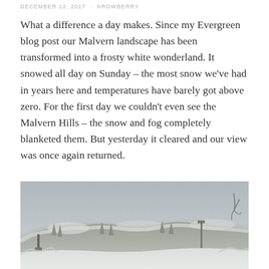DECEMBER 12, 2017  ·  NROWBERRY
What a difference a day makes. Since my Evergreen blog post our Malvern landscape has been transformed into a frosty white wonderland. It snowed all day on Sunday – the most snow we've had in years here and temperatures have barely got above zero. For the first day we couldn't even see the Malvern Hills – the snow and fog completely blanketed them. But yesterday it cleared and our view was once again returned.
[Figure (photo): Snow-covered Malvern Hills landscape in winter, showing snow-dusted hills under a grey overcast sky with frost-covered trees and vegetation in the foreground.]